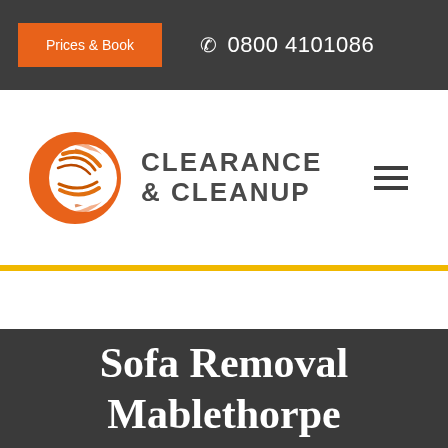Prices & Book | 0800 4101086
[Figure (logo): Clearance & Cleanup company logo with orange stylized C letter mark and bold gray text reading CLEARANCE & CLEANUP]
Sofa Removal Mablethorpe